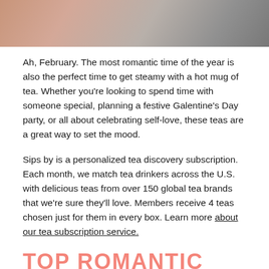[Figure (photo): Cropped photo showing two people's torsos wearing cozy sweaters, one pink/peach and one grey]
Ah, February. The most romantic time of the year is also the perfect time to get steamy with a hot mug of tea. Whether you're looking to spend time with someone special, planning a festive Galentine's Day party, or all about celebrating self-love, these teas are a great way to set the mood.
Sips by is a personalized tea discovery subscription. Each month, we match tea drinkers across the U.S. with delicious teas from over 150 global tea brands that we're sure they'll love. Members receive 4 teas chosen just for them in every box. Learn more about our tea subscription service.
TOP ROMANTIC TEAS
6. Share Love